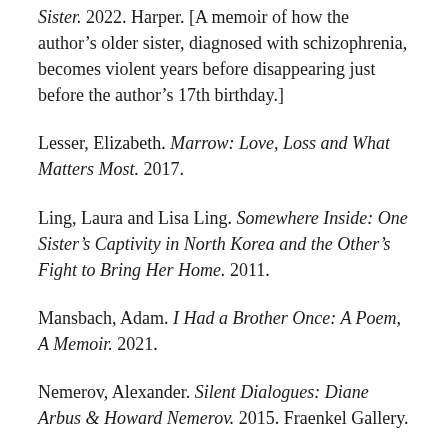Sister. 2022. Harper. [A memoir of how the author's older sister, diagnosed with schizophrenia, becomes violent years before disappearing just before the author's 17th birthday.]
Lesser, Elizabeth. Marrow: Love, Loss and What Matters Most. 2017.
Ling, Laura and Lisa Ling. Somewhere Inside: One Sister's Captivity in North Korea and the Other's Fight to Bring Her Home. 2011.
Mansbach, Adam. I Had a Brother Once: A Poem, A Memoir. 2021.
Nemerov, Alexander. Silent Dialogues: Diane Arbus & Howard Nemerov. 2016. Fraenkel Gallery.